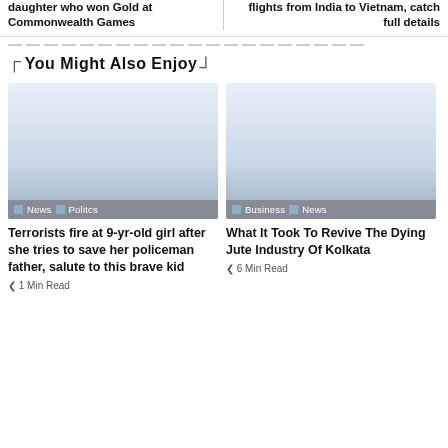daughter who won Gold at Commonwealth Games
flights from India to Vietnam, catch full details
You Might Also Enjoy
[Figure (photo): News article card image with tags: News, Politcs]
Terrorists fire at 9-yr-old girl after she tries to save her policeman father, salute to this brave kid
1 Min Read
[Figure (photo): News article card image with tags: Business, News]
What It Took To Revive The Dying Jute Industry Of Kolkata
6 Min Read